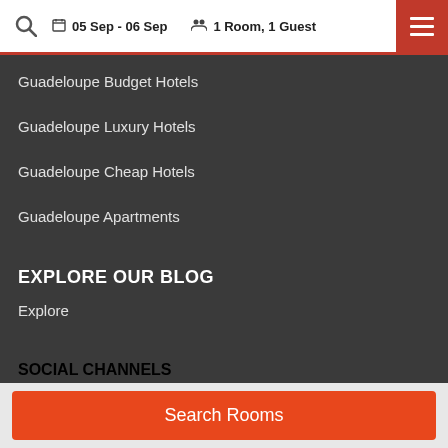05 Sep - 06 Sep   1 Room, 1 Guest
Guadeloupe Budget Hotels
Guadeloupe Luxury Hotels
Guadeloupe Cheap Hotels
Guadeloupe Apartments
EXPLORE OUR BLOG
Explore
SOCIAL CHANNELS
[Figure (infographic): Four social media icons in white circles: Facebook, Twitter, Pinterest, and another social network]
Search Rooms